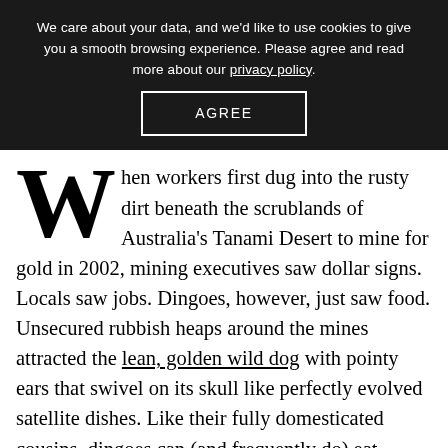We care about your data, and we'd like to use cookies to give you a smooth browsing experience. Please agree and read more about our privacy policy.
AGREE
When workers first dug into the rusty dirt beneath the scrublands of Australia's Tanami Desert to mine for gold in 2002, mining executives saw dollar signs. Locals saw jobs. Dingoes, however, just saw food. Unsecured rubbish heaps around the mines attracted the lean, golden wild dog with pointy ears that swivel on its skull like perfectly evolved satellite dishes. Like their fully domesticated cousins, dingoes can (and frequently do) eat anything — including food left behind by humans.